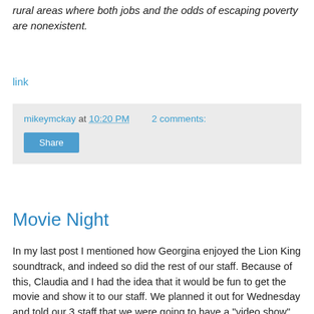rural areas where both jobs and the odds of escaping poverty are nonexistent.
link
mikeymckay at 10:20 PM   2 comments:
Share
Movie Night
In my last post I mentioned how Georgina enjoyed the Lion King soundtrack, and indeed so did the rest of our staff. Because of this, Claudia and I had the idea that it would be fun to get the movie and show it to our staff. We planned it out for Wednesday and told our 3 staff that we were going to have a "video show" night and that we would provide food for them and their families. Despite visiting multiple video stores, checking the stacks of DVDs for sale on the street, and